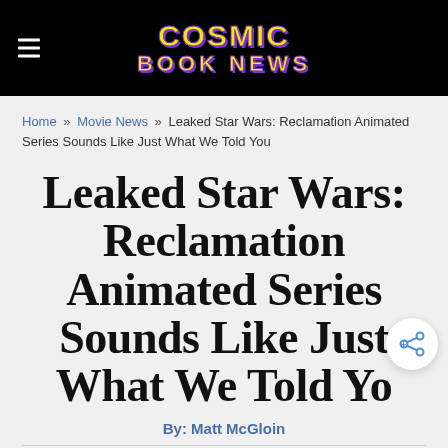Cosmic Book News
Home » Movie News » Leaked Star Wars: Reclamation Animated Series Sounds Like Just What We Told You
Leaked Star Wars: Reclamation Animated Series Sounds Like Just What We Told You
By: Matt McGloin
Published: Saturday, April 13, 2013 - 8:38PM